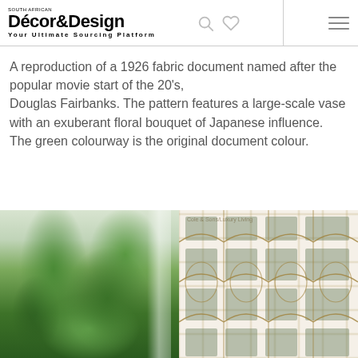Décor&Design — Your Ultimate Sourcing Platform
A reproduction of a 1926 fabric document named after the popular movie start of the 20's, Douglas Fairbanks. The pattern features a large-scale vase with an exuberant floral bouquet of Japanese influence. The green colourway is the original document colour.
[Figure (photo): Left: close-up photo of green tropical plant leaves in a vase near a window. Right: decorative wallpaper/fabric pattern with geometric trellis and floral motifs in green and gold tones on cream background.]